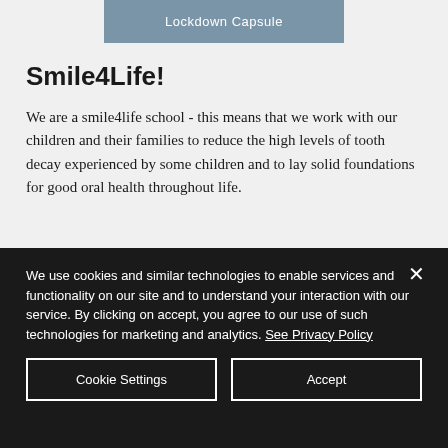Lockdown Capsule
Smile4Life!
We are a smile4life school - this means that we work with our children and their families to reduce the high levels of tooth decay experienced by some children and to lay solid foundations for good oral health throughout life.
We use cookies and similar technologies to enable services and functionality on our site and to understand your interaction with our service. By clicking on accept, you agree to our use of such technologies for marketing and analytics. See Privacy Policy
Cookie Settings
Accept